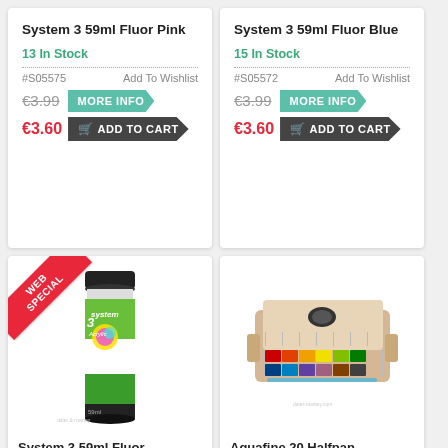System 3 59ml Fluor Pink
13 In Stock
#S05575   Add To Wishlist
€3.99  MORE INFO
€3.60  ADD TO CART
System 3 59ml Fluor Blue
15 In Stock
#S05572   Add To Wishlist
€3.99  MORE INFO
€3.60  ADD TO CART
[Figure (photo): WEB SPECIAL ribbon badge with System 3 acrylic paint tube (green/white, 59ml)]
System 3 59ml Fluor
[Figure (photo): Aquafine 20 Halfpan watercolor set open case with pans and palette]
Aquafine 20 Halfpan